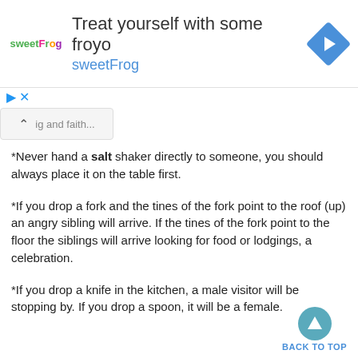[Figure (screenshot): SweetFrog advertisement banner with logo, headline 'Treat yourself with some froyo', subline 'sweetFrog', and a blue diamond navigation icon]
*Never hand a salt shaker directly to someone, you should always place it on the table first.
*If you drop a fork and the tines of the fork point to the roof (up) an angry sibling will arrive. If the tines of the fork point to the floor the siblings will arrive looking for food or lodgings, a celebration.
*If you drop a knife in the kitchen, a male visitor will be stopping by. If you drop a spoon, it will be a female.